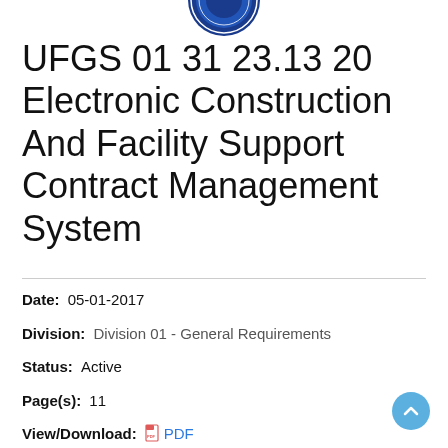[Figure (logo): Partial circular blue logo/seal at top center, partially cropped]
UFGS 01 31 23.13 20 Electronic Construction And Facility Support Contract Management System
Date: 05-01-2017
Division: Division 01 - General Requirements
Status: Active
Page(s): 11
View/Download: PDF ZIP